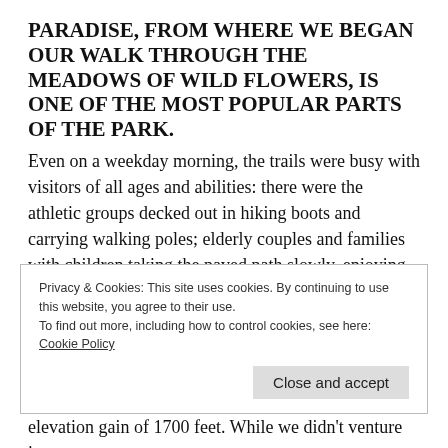PARADISE, FROM WHERE WE BEGAN OUR WALK THROUGH THE MEADOWS OF WILD FLOWERS, IS ONE OF THE MOST POPULAR PARTS OF THE PARK.
Even on a weekday morning, the trails were busy with visitors of all ages and abilities: there were the athletic groups decked out in hiking boots and carrying walking poles; elderly couples and families with children taking the paved path slowly, enjoying the scenery at Myrtle Falls; and the casual hikers like us, with backpacks and trainers, but no OS maps or hiking equipment to suggest they were going to the top. (We most certainly
Privacy & Cookies: This site uses cookies. By continuing to use this website, you agree to their use.
To find out more, including how to control cookies, see here: Cookie Policy
elevation gain of 1700 feet. While we didn't venture into